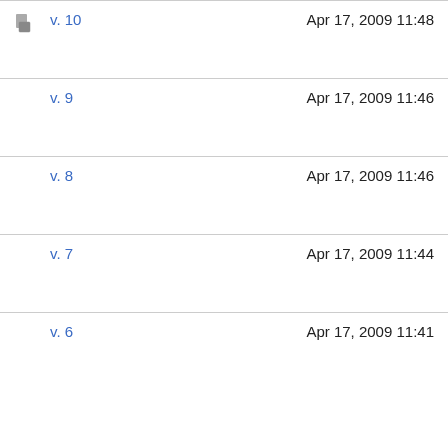v. 10  Apr 17, 2009 11:48
v. 9  Apr 17, 2009 11:46
v. 8  Apr 17, 2009 11:46
v. 7  Apr 17, 2009 11:44
v. 6  Apr 17, 2009 11:41